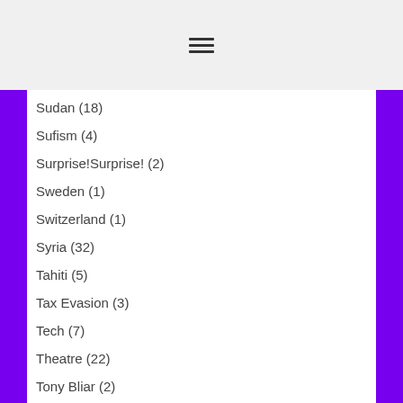Sudan (18)
Sufism (4)
Surprise!Surprise! (2)
Sweden (1)
Switzerland (1)
Syria (32)
Tahiti (5)
Tax Evasion (3)
Tech (7)
Theatre (22)
Tony Bliar (2)
Tory Scandal (174)
Trade Union History (3)